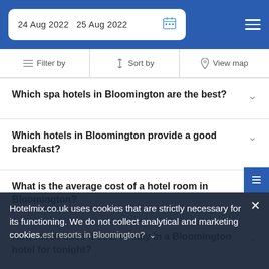24 Aug 2022   25 Aug 2022
Filter by   Sort by   View map
Which spa hotels in Bloomington are the best?
Which hotels in Bloomington provide a good breakfast?
What is the average cost of a hotel room in Bloomington?
How much does it cost to stay in a Bloomington hotel for tonight?
Hotelmix.co.uk uses cookies that are strictly necessary for its functioning. We do not collect analytical and marketing cookies.